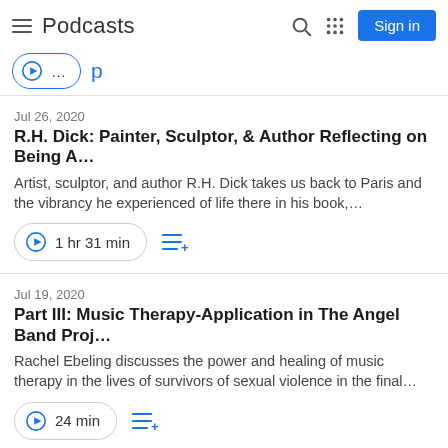Podcasts
[Figure (screenshot): Partial podcast episode player button and text, cut off at top]
Jul 26, 2020
R.H. Dick: Painter, Sculptor, & Author Reflecting on Being A…
Artist, sculptor, and author R.H. Dick takes us back to Paris and the vibrancy he experienced of life there in his book,...
1 hr 31 min
Jul 19, 2020
Part III: Music Therapy-Application in The Angel Band Proj…
Rachel Ebeling discusses the power and healing of music therapy in the lives of survivors of sexual violence in the final...
24 min
Jul 19, 2020
Part II: Music Therapy-History, Research, Practice, & Growth